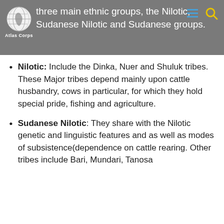three main ethnic groups, the Nilotic, Sudanese Nilotic and Sudanese groups.
Nilotic: Include the Dinka, Nuer and Shuluk tribes. These Major tribes depend mainly upon cattle husbandry, cows in particular, for which they hold special pride, fishing and agriculture.
Sudanese Nilotic: They share with the Nilotic genetic and linguistic features and as well as modes of subsistence(dependence on cattle rearing. Other tribes include Bari, Mundari, Tanosa